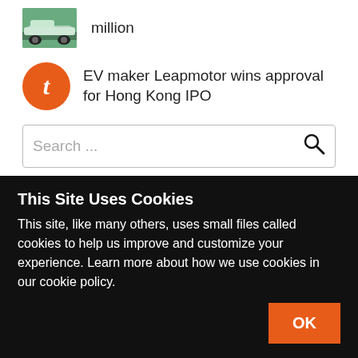million
EV maker Leapmotor wins approval for Hong Kong IPO
Search ...
Sort by Relevance
[Figure (logo): Technode logo in orange and dark text]
This Site Uses Cookies
This site, like many others, uses small files called cookies to help us improve and customize your experience. Learn more about how we use cookies in our cookie policy.
OK